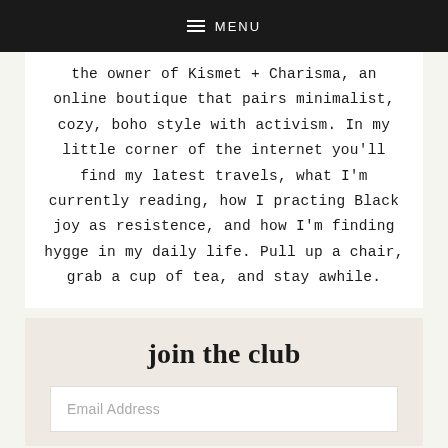MENU
the owner of Kismet + Charisma, an online boutique that pairs minimalist, cozy, boho style with activism. In my little corner of the internet you'll find my latest travels, what I'm currently reading, how I practing Black joy as resistence, and how I'm finding hygge in my daily life. Pull up a chair, grab a cup of tea, and stay awhile.
join the club
Email Address